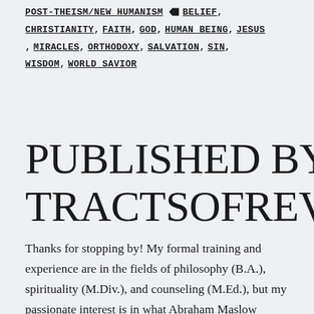POST-THEISM/NEW HUMANISM BELIEF, CHRISTIANITY, FAITH, GOD, HUMAN BEING, JESUS, MIRACLES, ORTHODOXY, SALVATION, SIN, WISDOM, WORLD SAVIOR
PUBLISHED BY TRACTSOFREVOLUTION
Thanks for stopping by! My formal training and experience are in the fields of philosophy (B.A.), spirituality (M.Div.), and counseling (M.Ed.), but my passionate interest is in what Abraham Maslow called "the farther reaches of our human nature." Tracts of Revolution is an ongoing conversation about